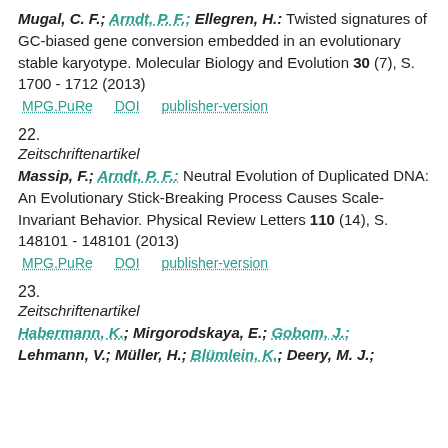Mugal, C. F.; Arndt, P. F.; Ellegren, H.: Twisted signatures of GC-biased gene conversion embedded in an evolutionary stable karyotype. Molecular Biology and Evolution 30 (7), S. 1700 - 1712 (2013)
MPG.PuRe   DOI   publisher-version
22.
Zeitschriftenartikel
Massip, F.; Arndt, P. F.: Neutral Evolution of Duplicated DNA: An Evolutionary Stick-Breaking Process Causes Scale-Invariant Behavior. Physical Review Letters 110 (14), S. 148101 - 148101 (2013)
MPG.PuRe   DOI   publisher-version
23.
Zeitschriftenartikel
Habermann, K.; Mirgorodskaya, E.; Gobom, J.; Lehmann, V.; Müller, H.; Blümlein, K.; Deery, M. J.;